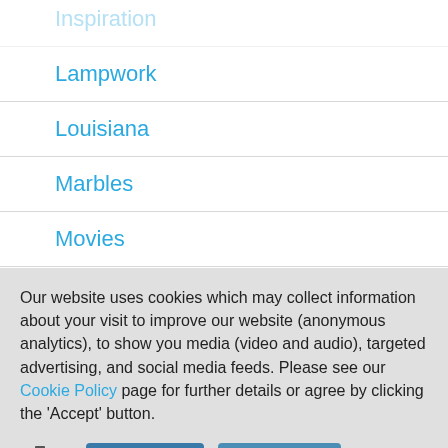Inspiration
Lampwork
Louisiana
Marbles
Movies
New Orleans
Our website uses cookies which may collect information about your visit to improve our website (anonymous analytics), to show you media (video and audio), targeted advertising, and social media feeds. Please see our Cookie Policy page for further details or agree by clicking the 'Accept' button.